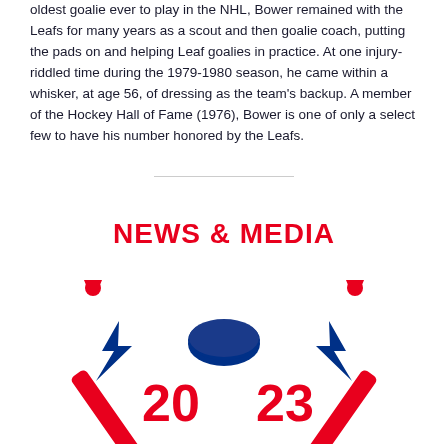oldest goalie ever to play in the NHL, Bower remained with the Leafs for many years as a scout and then goalie coach, putting the pads on and helping Leaf goalies in practice. At one injury-riddled time during the 1979-1980 season, he came within a whisker, at age 56, of dressing as the team's backup. A member of the Hockey Hall of Fame (1976), Bower is one of only a select few to have his number honored by the Leafs.
NEWS & MEDIA
[Figure (illustration): Hockey logo with two crossed red hockey sticks, a blue puck in the center, blue lightning bolt accents, and the numbers 20 and 23 displayed in red on either side]